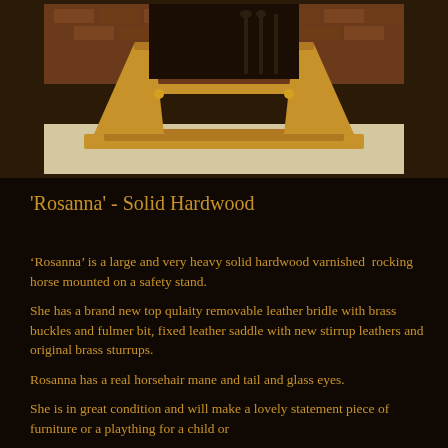[Figure (photo): Photograph of Rosanna, a solid hardwood varnished rocking horse mounted on a safety stand, shown from the front/below angle. The wooden stand is visible with cross-beams and vertical supports in a warm honey-brown varnished wood tone. Background shows a fireplace with brick surround.]
'Rosanna' - Solid Hardwood
‘Rosanna’ is a large and very heavy solid hardwood varnished  rocking horse mounted on a safety stand.
She has a brand new top qulaity removable leather bridle with brass buckles and fulmer bit, fixed leather saddle with new stirrup leathers and original brass sturrups.
Rosanna has a real horsehair mane and tail and glass eyes.
She is in great condition and will make a lovely statement piece of furniture or a plaything for a child or